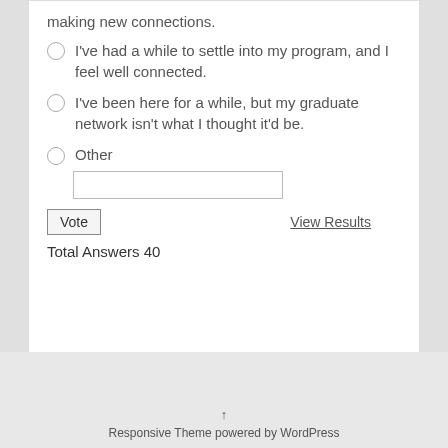Queen a, but I'm concerned about making new connections.
I've had a while to settle into my program, and I feel well connected.
I've been here for a while, but my graduate network isn't what I thought it'd be.
Other
Total Answers 40
Responsive Theme powered by WordPress